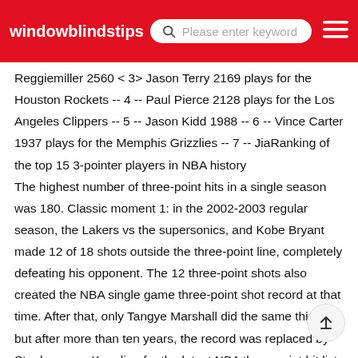windowblindstips   Please enter keyword
Reggiemiller 2560 < 3> Jason Terry 2169 plays for the Houston Rockets -- 4 -- Paul Pierce 2128 plays for the Los Angeles Clippers -- 5 -- Jason Kidd 1988 -- 6 -- Vince Carter 1937 plays for the Memphis Grizzlies -- 7 -- JiaRanking of the top 15 3-pointer players in NBA history
The highest number of three-point hits in a single season was 180. Classic moment 1: in the 2002-2003 regular season, the Lakers vs the supersonics, and Kobe Bryant made 12 of 18 shots outside the three-point line, completely defeating his opponent. The 12 three-point shots also created the NBA single game three-point shot record at that time. After that, only Tangye Marshall did the same thing, but after more than ten years, the record was replaced by Stephen curryKneeling for the latest NBA three-point hit list Regular season three-point standings 1 Ray Allen 2708